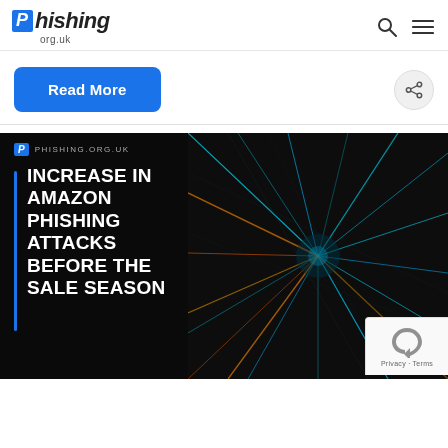Phishing org.uk
Read More
[Figure (screenshot): Article card image on dark background with tech/data center visual showing 'INCREASE IN AMAZON PHISHING ATTACKS BEFORE THE SALE SEASON' in bold white uppercase text with a blue vertical bar accent and phishing.org.uk logo at top left]
INCREASE IN AMAZON PHISHING ATTACKS BEFORE THE SALE SEASON